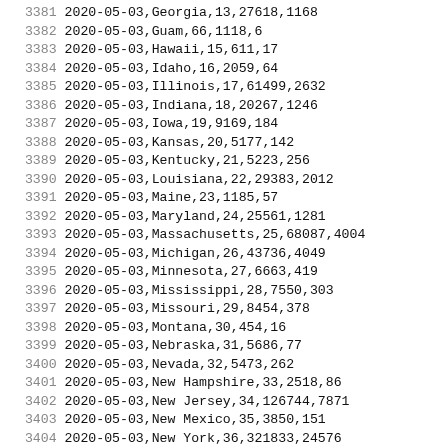| row_num | data |
| --- | --- |
| 3381 | 2020-05-03,Georgia,13,27618,1168 |
| 3382 | 2020-05-03,Guam,66,1118,6 |
| 3383 | 2020-05-03,Hawaii,15,611,17 |
| 3384 | 2020-05-03,Idaho,16,2059,64 |
| 3385 | 2020-05-03,Illinois,17,61499,2632 |
| 3386 | 2020-05-03,Indiana,18,20267,1246 |
| 3387 | 2020-05-03,Iowa,19,9169,184 |
| 3388 | 2020-05-03,Kansas,20,5177,142 |
| 3389 | 2020-05-03,Kentucky,21,5223,256 |
| 3390 | 2020-05-03,Louisiana,22,29383,2012 |
| 3391 | 2020-05-03,Maine,23,1185,57 |
| 3392 | 2020-05-03,Maryland,24,25561,1281 |
| 3393 | 2020-05-03,Massachusetts,25,68087,4004 |
| 3394 | 2020-05-03,Michigan,26,43736,4049 |
| 3395 | 2020-05-03,Minnesota,27,6663,419 |
| 3396 | 2020-05-03,Mississippi,28,7550,303 |
| 3397 | 2020-05-03,Missouri,29,8454,378 |
| 3398 | 2020-05-03,Montana,30,454,16 |
| 3399 | 2020-05-03,Nebraska,31,5686,77 |
| 3400 | 2020-05-03,Nevada,32,5473,262 |
| 3401 | 2020-05-03,New Hampshire,33,2518,86 |
| 3402 | 2020-05-03,New Jersey,34,126744,7871 |
| 3403 | 2020-05-03,New Mexico,35,3850,151 |
| 3404 | 2020-05-03,New York,36,321833,24576 |
| 3405 | 2020-05-03,North Carolina,37,11668,436 |
| 3406 | 2020-05-03,North Dakota,38,1191,25 |
| 3407 | 2020-05-03,Northern Mariana Islands,69,14,2 |
| 3408 | 2020-05-03,Ohio,39,19914,1038 |
| 3409 | 2020-05-03,Oklahoma,40,3972,238 |
| 3410 | 2020-05-03,Oregon,41,2680,109 |
| 3411 | 2020-05-03,Pennsylvania,42,52079,2843 |
| 3412 | 2020-05-03,Puerto Rico,72,1806,97 |
| 3413 | 2020-05-03,Rhode Island,44,8477,328 |